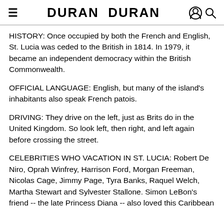DURAN DURAN
HISTORY: Once occupied by both the French and English, St. Lucia was ceded to the British in 1814. In 1979, it became an independent democracy within the British Commonwealth.
OFFICIAL LANGUAGE: English, but many of the island's inhabitants also speak French patois.
DRIVING: They drive on the left, just as Brits do in the United Kingdom. So look left, then right, and left again before crossing the street.
CELEBRITIES WHO VACATION IN ST. LUCIA: Robert De Niro, Oprah Winfrey, Harrison Ford, Morgan Freeman, Nicolas Cage, Jimmy Page, Tyra Banks, Raquel Welch, Martha Stewart and Sylvester Stallone. Simon LeBon's friend -- the late Princess Diana -- also loved this Caribbean